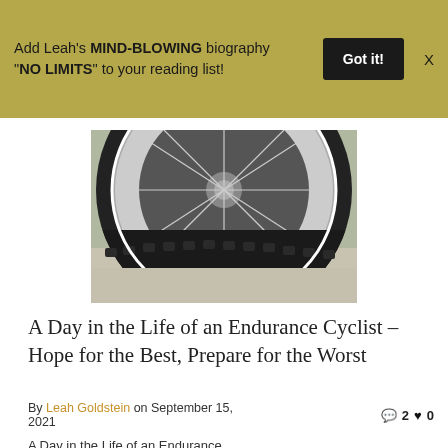Add Leah's MIND-BLOWING biography "NO LIMITS" to your reading list! Got it! X
[Figure (photo): Close-up photograph of a bicycle tire and wheel rim on pavement, showing the tread and spokes]
A Day in the Life of an Endurance Cyclist – Hope for the Best, Prepare for the Worst
By Leah Goldstein on September 15, 2021  💬 2  ❤ 0
A Day in the Life of an Endurance